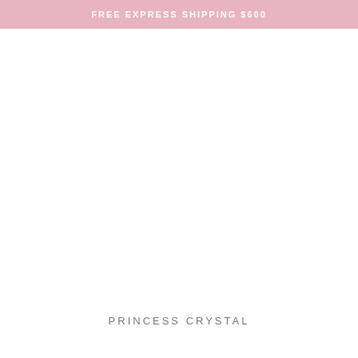FREE EXPRESS SHIPPING $600
PRINCESS CRYSTAL